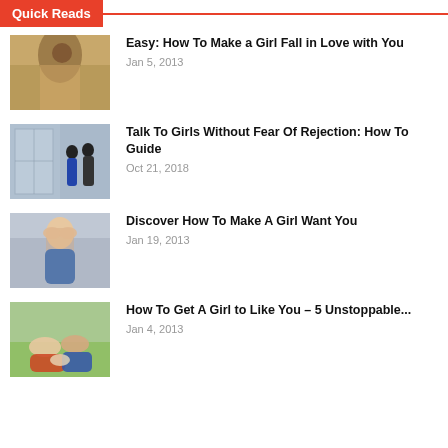Quick Reads
[Figure (photo): Outdoor romantic photo of couple in a field]
Easy: How To Make a Girl Fall in Love with You
Jan 5, 2013
[Figure (photo): Two silhouettes standing by large windows]
Talk To Girls Without Fear Of Rejection: How To Guide
Oct 21, 2018
[Figure (photo): Person covering face with hands]
Discover How To Make A Girl Want You
Jan 19, 2013
[Figure (photo): Couple lying on grass outdoors]
How To Get A Girl to Like You – 5 Unstoppable...
Jan 4, 2013